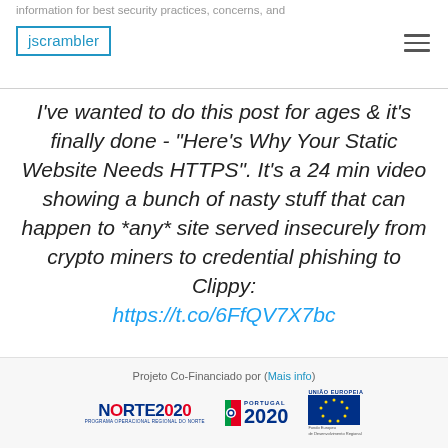information for best security practices, concerns, and jscrambler
I've wanted to do this post for ages & it's finally done - "Here's Why Your Static Website Needs HTTPS". It's a 24 min video showing a bunch of nasty stuff that can happen to *any* site served insecurely from crypto miners to credential phishing to Clippy: https://t.co/6FfQV7X7bc
Projeto Co-Financiado por (Mais info) | NORTE2020 | PORTUGAL 2020 | UNIÃO EUROPEIA